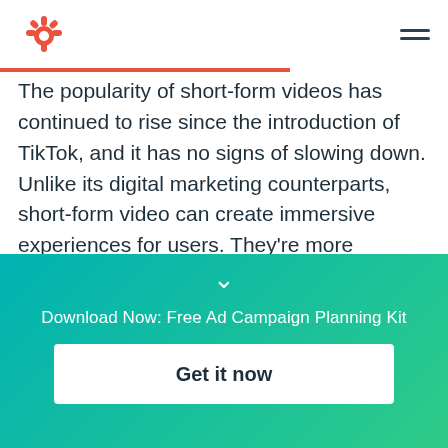[Figure (logo): HubSpot sprocket logo in orange, top left corner]
The popularity of short-form videos has continued to rise since the introduction of TikTok, and it has no signs of slowing down. Unlike its digital marketing counterparts, short-form video can create immersive experiences for users. They're more "sticky," shareable, and, in my opinion, way more addicting than other formats.
A variety of social media platforms have tried to
Download Now: Free Ad Campaign Planning Kit
Get it now